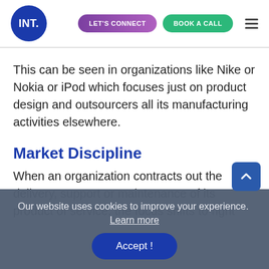INT. | LET'S CONNECT | BOOK A CALL
This can be seen in organizations like Nike or Nokia or iPod which focuses just on product design and outsourcers all its manufacturing activities elsewhere.
Market Discipline
When an organization contracts out the delivery, support or maintenance of its product of service, the focus shifts to right placement ... and Markets. Thus it is essential for spotting trends and responding ... quire a market
Our website uses cookies to improve your experience.  Learn more